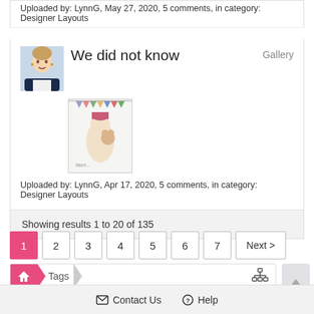Uploaded by: LynnG, May 27, 2020, 5 comments, in category: Designer Layouts
We did not know
Gallery
[Figure (photo): Thumbnail scrapbook layout image with winter/holiday theme]
Uploaded by: LynnG, Apr 17, 2020, 5 comments, in category: Designer Layouts
Showing results 1 to 20 of 135
1 2 3 4 5 6 7 Next >
Tags
Contact Us   Help